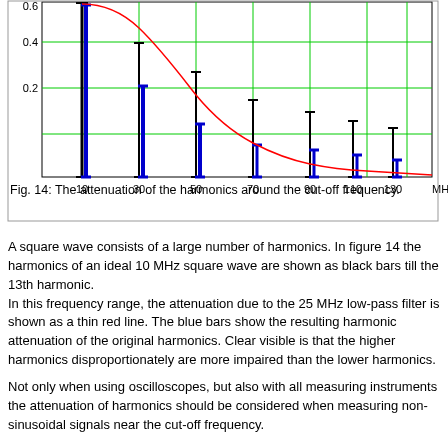[Figure (continuous-plot): Chart showing attenuation of harmonics around the cut-off frequency. Black bars show harmonics of a 10 MHz square wave up to the 13th harmonic. Blue bars show resulting harmonic attenuation. A red curve shows the 25 MHz low-pass filter attenuation. X-axis: 10, 30, 50, 70, 90, 110, 130 MHz. Y-axis: 0.2, 0.4, 0.6+.]
Fig. 14: The attenuation of the harmonics around the cut-off frequency.
A square wave consists of a large number of harmonics. In figure 14 the harmonics of an ideal 10 MHz square wave are shown as black bars till the 13th harmonic.
In this frequency range, the attenuation due to the 25 MHz low-pass filter is shown as a thin red line. The blue bars show the resulting harmonic attenuation of the original harmonics. Clear visible is that the higher harmonics disproportionately are more impaired than the lower harmonics.
Not only when using oscilloscopes, but also with all measuring instruments the attenuation of harmonics should be considered when measuring non-sinusoidal signals near the cut-off frequency.